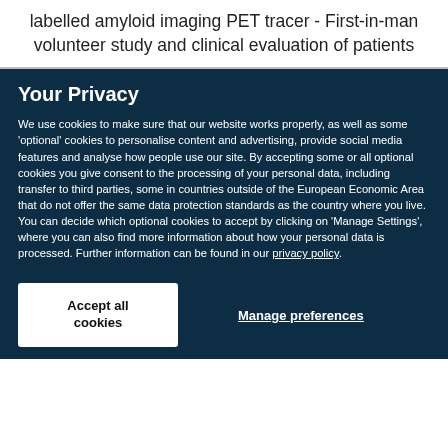labelled amyloid imaging PET tracer - First-in-man volunteer study and clinical evaluation of patients
Your Privacy
We use cookies to make sure that our website works properly, as well as some 'optional' cookies to personalise content and advertising, provide social media features and analyse how people use our site. By accepting some or all optional cookies you give consent to the processing of your personal data, including transfer to third parties, some in countries outside of the European Economic Area that do not offer the same data protection standards as the country where you live. You can decide which optional cookies to accept by clicking on 'Manage Settings', where you can also find more information about how your personal data is processed. Further information can be found in our privacy policy.
Accept all cookies
Manage preferences